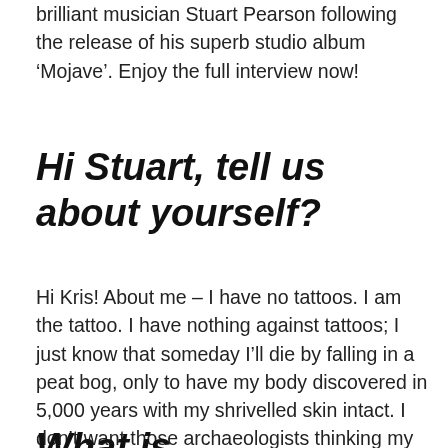We were fortunate enough to catch up with the brilliant musician Stuart Pearson following the release of his superb studio album ‘Mojave’. Enjoy the full interview now!
Hi Stuart, tell us about yourself?
Hi Kris! About me – I have no tattoos. I am the tattoo. I have nothing against tattoos; I just know that someday I’ll die by falling in a peat bog, only to have my body discovered in 5,000 years with my shrivelled skin intact. I don’t want those archaeologists thinking my tattoo of the Nike logo has some kind of religious significance.
What is...